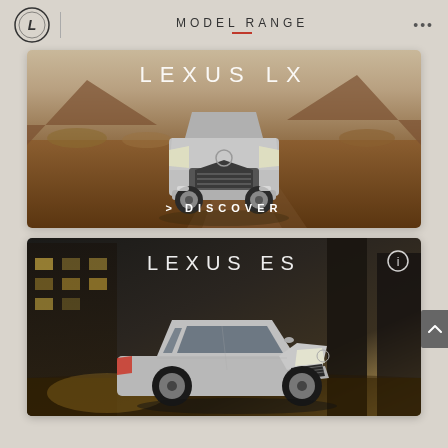MODEL RANGE
[Figure (photo): Lexus LX SUV in desert landscape with mountains, showing front view on dirt road. Text overlay: LEXUS LX and DISCOVER button.]
[Figure (photo): Lexus ES sedan in urban/city setting at night. Text overlay: LEXUS ES with info icon.]